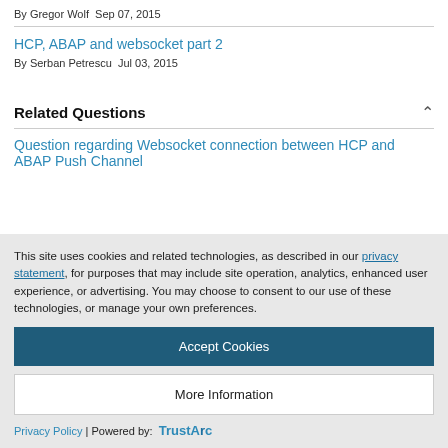By Gregor Wolf  Sep 07, 2015
HCP, ABAP and websocket part 2
By Serban Petrescu  Jul 03, 2015
Related Questions
Question regarding Websocket connection between HCP and ABAP Push Channel
This site uses cookies and related technologies, as described in our privacy statement, for purposes that may include site operation, analytics, enhanced user experience, or advertising. You may choose to consent to our use of these technologies, or manage your own preferences.
Accept Cookies
More Information
Privacy Policy | Powered by: TrustArc